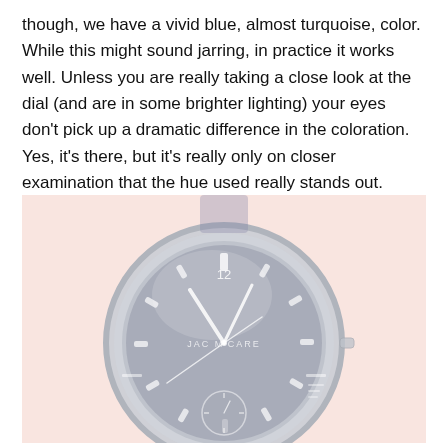though, we have a vivid blue, almost turquoise, color. While this might sound jarring, in practice it works well. Unless you are really taking a close look at the dial (and are in some brighter lighting) your eyes don't pick up a dramatic difference in the coloration. Yes, it's there, but it's really only on closer examination that the hue used really stands out.
[Figure (photo): Close-up photo of a Jack McCabe watch face showing a dark dial with the brand name 'JAC McCARE' visible, hour markers, hands, and a sub-dial. The image has a pinkish/flesh-toned blurred background and the watch face appears slightly washed out/overexposed.]